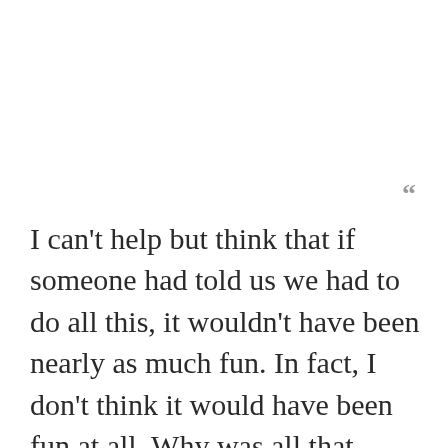[Figure (other): Decorative closing quotation mark symbol in gray]
I can't help but think that if someone had told us we had to do all this, it wouldn't have been nearly as much fun. In fact, I don't think it would have been fun at all. Why was all that work enjoyable as a child but cleaning my house and weeding flower beds now more often seems like